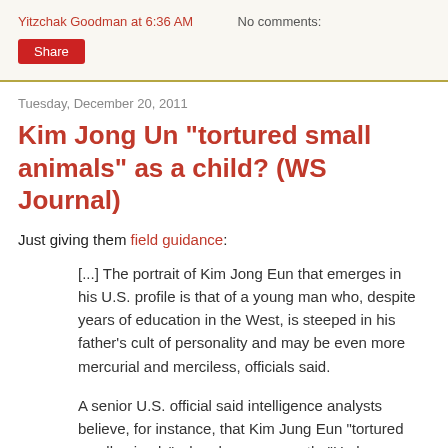Yitzchak Goodman at 6:36 AM   No comments:
Share
Tuesday, December 20, 2011
Kim Jong Un "tortured small animals" as a child? (WS Journal)
Just giving them field guidance:
[...] The portrait of Kim Jong Eun that emerges in his U.S. profile is that of a young man who, despite years of education in the West, is steeped in his father's cult of personality and may be even more mercurial and merciless, officials said.
A senior U.S. official said intelligence analysts believe, for instance, that Kim Jung Eun "tortured small animals" when he was a youth. "He has a violent streak and that's worrisome," a senior